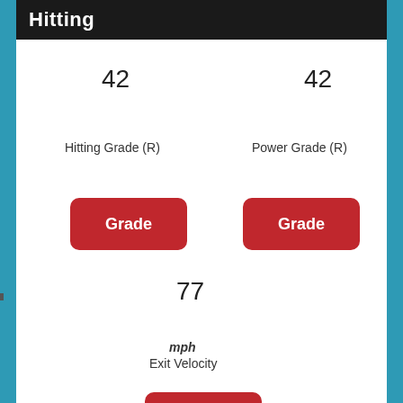Hitting
42
42
Hitting Grade (R)
Power Grade (R)
Grade
Grade
77
mph
Exit Velocity
Scale